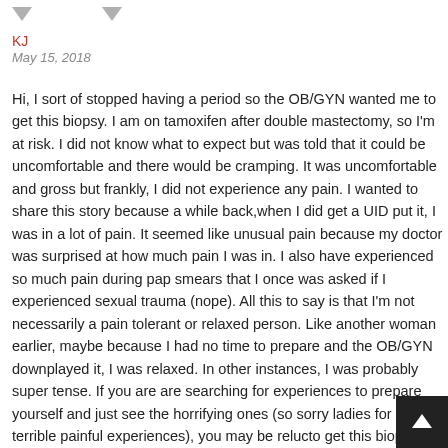▼ ▼
KJ
May 15, 2018
Hi, I sort of stopped having a period so the OB/GYN wanted me to get this biopsy. I am on tamoxifen after double mastectomy, so I'm at risk. I did not know what to expect but was told that it could be uncomfortable and there would be cramping. It was uncomfortable and gross but frankly, I did not experience any pain. I wanted to share this story because a while back,when I did get a UID put it, I was in a lot of pain. It seemed like unusual pain because my doctor was surprised at how much pain I was in. I also have experienced so much pain during pap smears that I once was asked if I experienced sexual trauma (nope). All this to say is that I'm not necessarily a pain tolerant or relaxed person. Like another woman earlier, maybe because I had no time to prepare and the OB/GYN downplayed it, I was relaxed. In other instances, I was probably super tense. If you are are searching for experiences to prepare yourself and just see the horrifying ones (so sorry ladies for all your terrible painful experiences), you may be relucto get this biopsy. As you can see, you should absolutely...